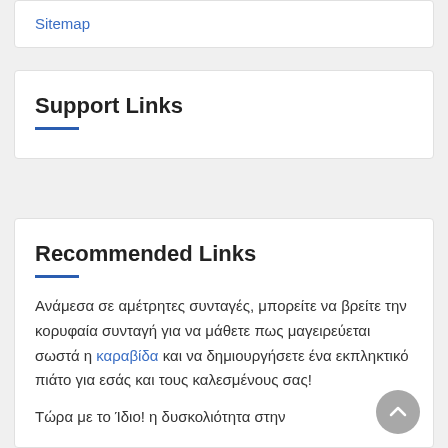Sitemap
Support Links
Recommended Links
Ανάμεσα σε αμέτρητες συνταγές, μπορείτε να βρείτε την κορυφαία συνταγή για να μάθετε πως μαγειρεύεται σωστά η καραβίδα και να δημιουργήσετε ένα εκπληκτικό πιάτο για εσάς και τους καλεσμένους σας!
Τώρα με το Ίδιο! η δυσκολιότητα στην...